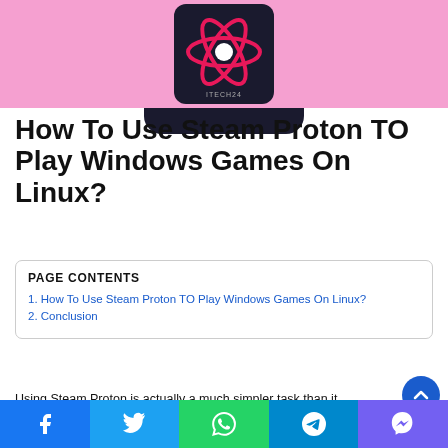[Figure (illustration): Pink background with a dark navy rounded square logo showing a red/pink atomic-style symbol (React-like) with text ITECH24 at the bottom]
How To Use Steam Proton TO Play Windows Games On Linux?
PAGE CONTENTS
1. How To Use Steam Proton TO Play Windows Games On Linux?
2. Conclusion
Using Steam Proton is actually a much simpler task than it
Facebook | Twitter | WhatsApp | Telegram | Viber